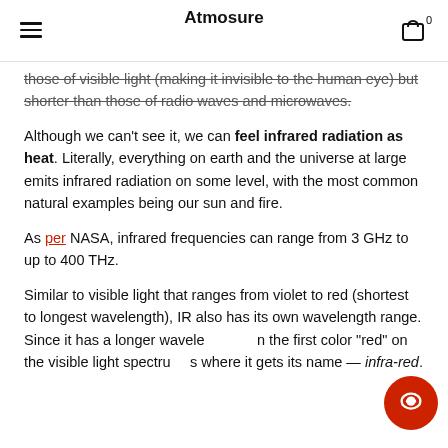Atmosure
those of visible light (making it invisible to the human eye) but shorter than those of radio waves and microwaves.
Although we can't see it, we can feel infrared radiation as heat. Literally, everything on earth and the universe at large emits infrared radiation on some level, with the most common natural examples being our sun and fire.
As per NASA, infrared frequencies can range from 3 GHz to up to 400 THz.
Similar to visible light that ranges from violet to red (shortest to longest wavelength), IR also has its own wavelength range. Since it has a longer wavelength than the first color "red" on the visible light spectrum is where it gets its name — infra-red.